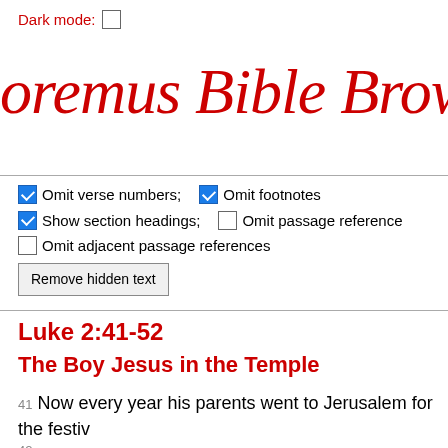Dark mode: [ ]
oremus Bible Brow
Omit verse numbers; [checked] Omit footnotes [checked] Show section headings; [ ] Omit passage reference [ ] Omit adjacent passage references  [Button: Remove hidden text]
Luke 2:41-52
The Boy Jesus in the Temple
41 Now every year his parents went to Jerusalem for the festiv... 42And when he was twelve years old, they went up as usual fo... the festival was ended and they started to return, the boy Jesu... Jerusalem, but his parents did not know it. 44Assuming that he... travellers, they went a day's journey. Then they started to loo...